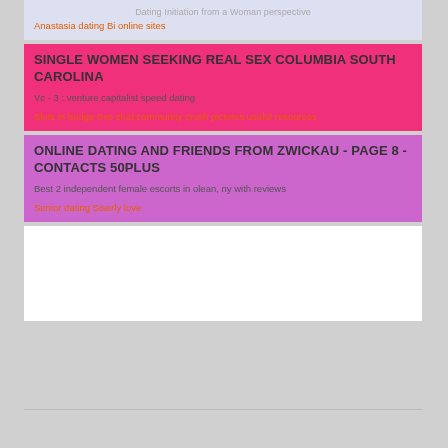Dating Initiation from a Woman perspective
Anastasia dating Bi online sites
SINGLE WOMEN SEEKING REAL SEX COLUMBIA SOUTH CAROLINA
Vc - 3 : venture capitalist speed dating
Sluts in bridge Sxe chat community crush pictures useful resources
ONLINE DATING AND FRIENDS FROM ZWICKAU - PAGE 8 - CONTACTS 50PLUS
Best 2 independent female escorts in olean, ny with reviews
Senior dating Siserly love